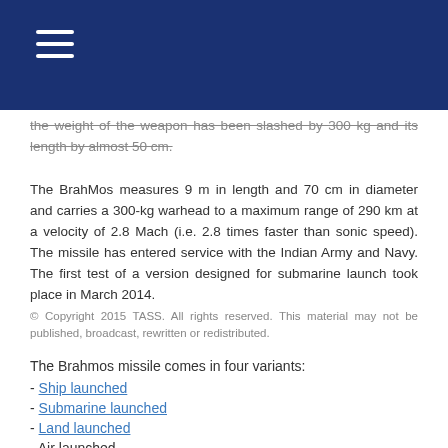the weight of the weapon has been slashed by 300 kg and its length by almost 50 cm.
The BrahMos measures 9 m in length and 70 cm in diameter and carries a 300-kg warhead to a maximum range of 290 km at a velocity of 2.8 Mach (i.e. 2.8 times faster than sonic speed). The missile has entered service with the Indian Army and Navy. The first test of a version designed for submarine launch took place in March 2014.
© Copyright 2015 TASS. All rights reserved. This material may not be published, broadcast, rewritten or redistributed.
The Brahmos missile comes in four variants:
- Ship launched
- Submarine launched
- Land launched
- Air launched